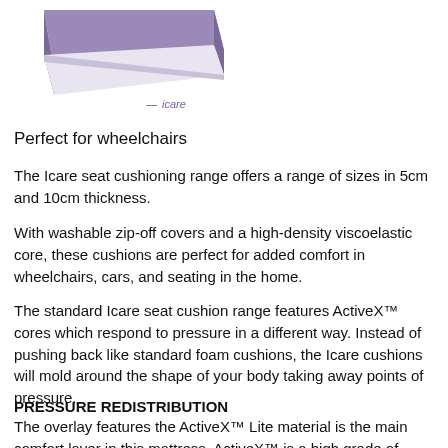[Figure (photo): Purple/lavender memory foam seat cushion product photo, partially cut off at top, with 'icare' logo text below it in purple italic font]
Perfect for wheelchairs
The Icare seat cushioning range offers a range of sizes in 5cm and 10cm thickness.
With washable zip-off covers and a high-density viscoelastic core, these cushions are perfect for added comfort in wheelchairs, cars, and seating in the home.
The standard Icare seat cushion range features ActiveX™ cores which respond to pressure in a different way. Instead of pushing back like standard foam cushions, the Icare cushions will mold around the shape of your body taking away points of pressure.
PRESSURE REDISTRIBUTION
The overlay features the ActiveX™ Lite material is the main comfort layer in this mattress. ActiveX™ is a high grade of elastic type foam which is responsive to